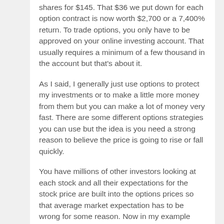shares for $145. That $36 we put down for each option contract is now worth $2,700 or a 7,400% return. To trade options, you only have to be approved on your online investing account. That usually requires a minimum of a few thousand in the account but that's about it.
As I said, I generally just use options to protect my investments or to make a little more money from them but you can make a lot of money very fast. There are some different options strategies you can use but the idea is you need a strong reason to believe the price is going to rise or fall quickly.
You have millions of other investors looking at each stock and all their expectations for the stock price are built into the options prices so that average market expectation has to be wrong for some reason. Now in my example above, finding out from your lawyer friend about Ronald's legal troubles would be insider trading and you'd go to